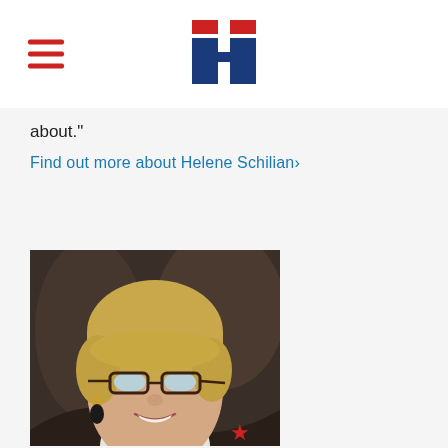[Hillary for America logo and navigation]
about."
Find out more about Helene Schilian›
[Figure (photo): Portrait photo of Helene Schilian, a woman with short blonde hair and glasses, smiling, with a decorative dark background and a small red star visible in the lower portion of the image]